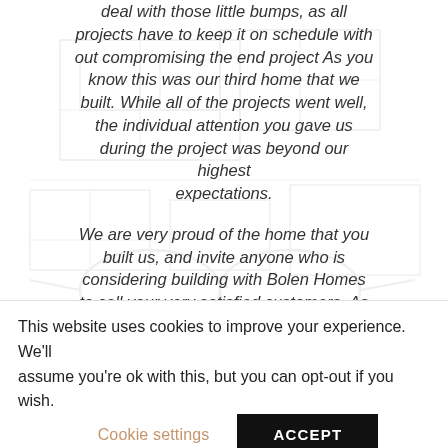deal with those little bumps, as all projects have to keep it on schedule with out compromising the end project As you know this was our third home that we built. While all of the projects went well, the individual attention you gave us during the project was beyond our highest expectations.

We are very proud of the home that you built us, and invite anyone who is considering building with Bolen Homes to call your very satisfied customers. As you know I have the opportunity to work with your staff on a daily basis. You should be very proud of the team you
This website uses cookies to improve your experience. We'll assume you're ok with this, but you can opt-out if you wish.